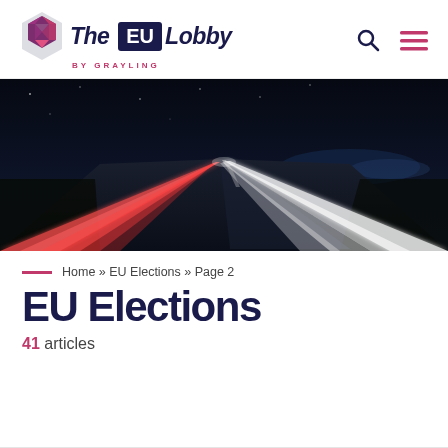The EU Lobby by Grayling
[Figure (photo): Night-time long-exposure highway photograph showing light trails from vehicles converging to a vanishing point, dark sky and roadside visible]
Home » EU Elections » Page 2
EU Elections
41 articles